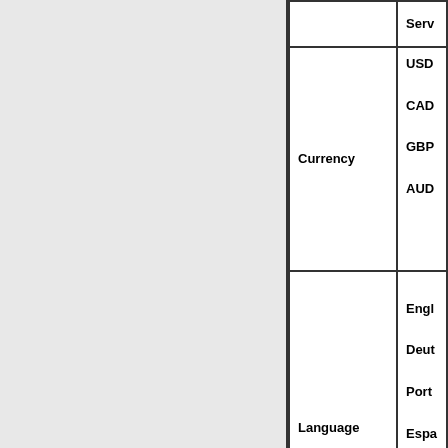| Field | Value |
| --- | --- |
|  | Serv... |
| Currency | USD
CAD
GBP
AUD |
| Language | Engl...
Deut...
Port...
Espa... |
| Prescription | No |
|  | Best...
Flon...
Phar...
Gene...
Med...
Fluti... |